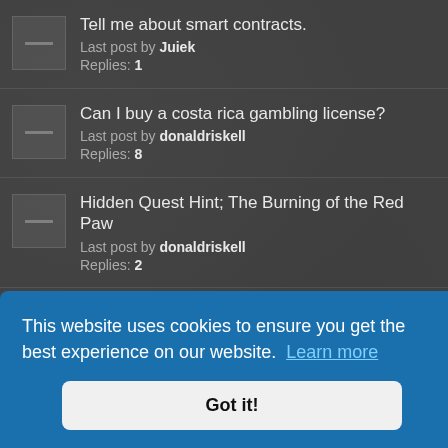Tell me about smart contracts. Last post by Juiek Replies: 1
Can I buy a costa rica gambling license? Last post by donaldriskell Replies: 8
Hidden Quest Hint; The Burning of the Red Paw Last post by donaldriskell Replies: 2
Linux Support! ( i got it run!!!)
Physical edition.
This website uses cookies to ensure you get the best experience on our website. Learn more
Got it!